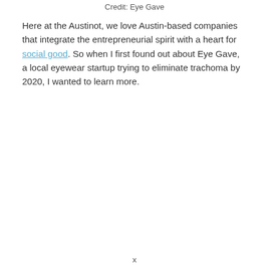Credit: Eye Gave
Here at the Austinot, we love Austin-based companies that integrate the entrepreneurial spirit with a heart for social good. So when I first found out about Eye Gave, a local eyewear startup trying to eliminate trachoma by 2020, I wanted to learn more.
x